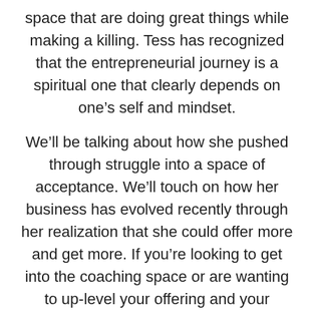space that are doing great things while making a killing. Tess has recognized that the entrepreneurial journey is a spiritual one that clearly depends on one’s self and mindset.
We’ll be talking about how she pushed through struggle into a space of acceptance. We’ll touch on how her business has evolved recently through her realization that she could offer more and get more. If you’re looking to get into the coaching space or are wanting to up-level your offering and your income, this is a must-listen episode. On the personal side, there are a ton of insights that are critical for understanding the balance between entrepreneurship and the self.